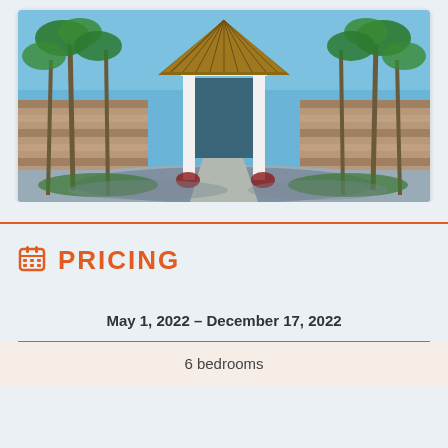[Figure (photo): Exterior entrance of a tropical villa with a thatched roof gazebo, stone walls, palm trees, and a curved driveway surrounded by lush greenery.]
PRICING
May 1, 2022 – December 17, 2022
6 bedrooms